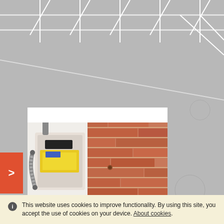[Figure (photo): Background image of a parking lot with white painted lines on grey concrete surface]
[Figure (photo): Photo of a commercial gas meter installed in a white cabinet mounted on a brick wall, with flexible metal hose connections and a yellow label visible]
Commercial Gas Safety Testing in Swindon on 01793 295135
GAS ENGINEERS - Swindon (England) - October 6, 2021 Check with seller
This website uses cookies to improve functionality. By using this site, you accept the use of cookies on your device. About cookies.